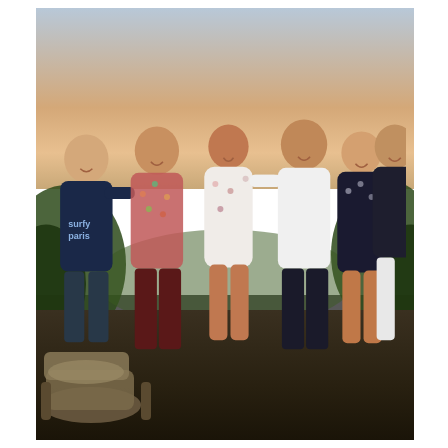[Figure (photo): Group photo of six people (three men and three women) posing together outdoors at sunset on a terrace or rooftop, with a scenic orange-pink sky and landscape in the background. One man on the left wears a navy 'surfy paris' sweatshirt. The group is smiling with arms around each other.]
We use cookies to ensure that we give you the best experience on our website. If you continue to use this site we will assume that you are happy with it.
Ok